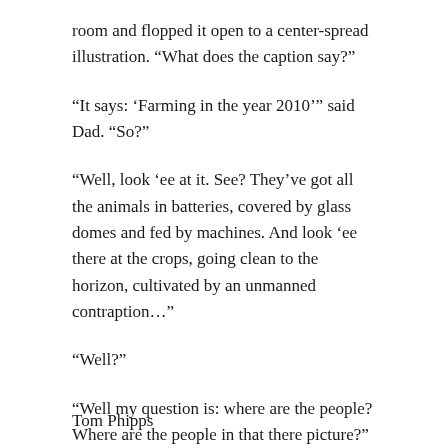room and flopped it open to a center-spread illustration. “What does the caption say?”
“It says: ‘Farming in the year 2010’” said Dad. “So?”
“Well, look ‘ee at it. See? They’ve got all the animals in batteries, covered by glass domes and fed by machines. And look ‘ee there at the crops, going clean to the horizon, cultivated by an unmanned contraption…”
“Well?”
“Well my question is: where are the people? Where are the people in that there picture?”
Tom Phipps